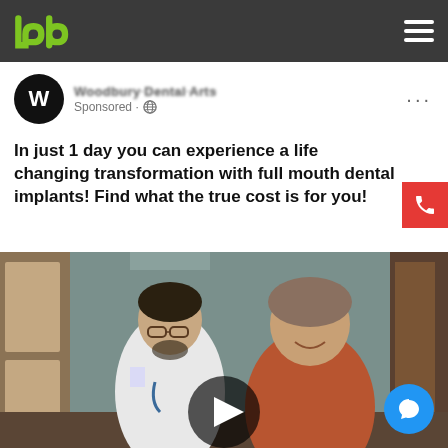PD logo and navigation bar
Woodbury Dental Arts
Sponsored
In just 1 day you can experience a life changing transformation with full mouth dental implants! Find what the true cost is for you!
[Figure (photo): Photo of a dentist in a white coat and a patient smiling together inside a dental office. A video play button overlay is shown in the center of the image.]